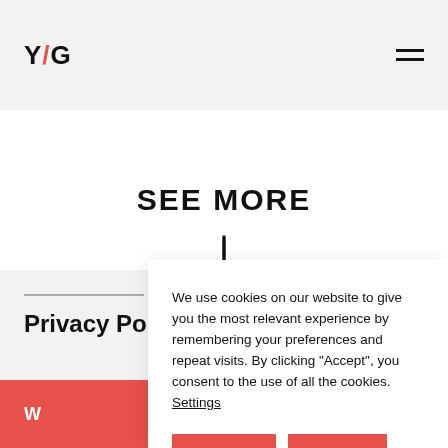Y/G
SEE MORE
[Figure (illustration): Down arrow icon]
Privacy Po
We use cookies on our website to give you the most relevant experience by remembering your preferences and repeat visits. By clicking "Accept", you consent to the use of all the cookies. Settings
Accept
Reject
W